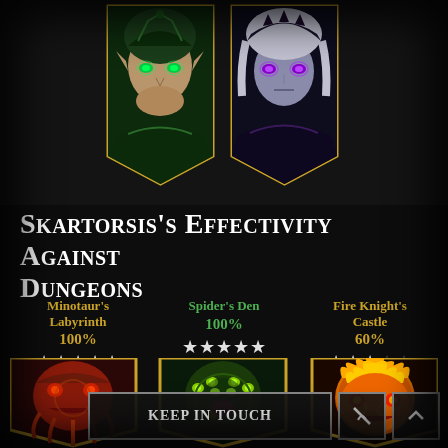[Figure (illustration): Two character portrait cards with gold pentagon-shaped frames at the top. Left portrait: a green-eyed elven character with glowing green eyes. Right portrait: a purple-eyed dark character with glowing purple eyes.]
Skartorsis's Effectivity against Dungeons
Minotaur's Labyrinth 100% ★★★★★
Spider's Den 100% ★★★★★
Fire Knight's Castle 60% ★★★☆☆
[Figure (illustration): Three monster portrait cards with gold pentagon frames. Left: red tentacled creature (Minotaur's Labyrinth boss). Center: green spider creature (Spider's Den boss). Right: fire/lava creature (Fire Knight's Castle boss).]
Keep in Touch